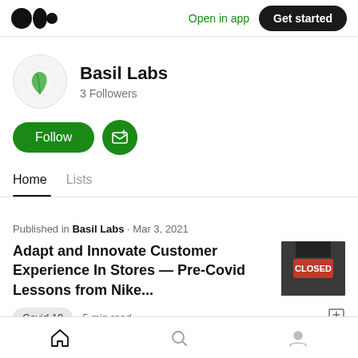Medium logo | Open in app | Get started
[Figure (logo): Medium logo (three black circles)]
Basil Labs
3 Followers
[Figure (illustration): Green leaf icon as profile avatar]
Follow
Subscribe button (envelope with plus)
Home    Lists
Published in Basil Labs · Mar 3, 2021
Adapt and Innovate Customer Experience In Stores — Pre-Covid Lessons from Nike...
[Figure (photo): Thumbnail photo of a closed store sign with red CLOSED text]
Covid 19   5 min read
Bottom navigation: Home, Search, Profile